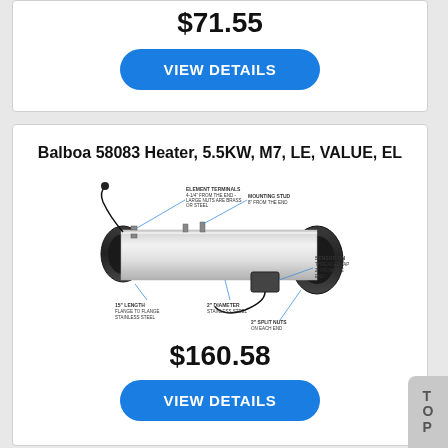$71.55
VIEW DETAILS
Balboa 58083 Heater, 5.5KW, M7, LE, VALUE, EL
[Figure (engineering-diagram): Diagram of a Balboa 58083 hot tub heater assembly — a cylindrical stainless steel tube with black end caps, mounting studs, element terminals, sensor/thermostat, and callout labels describing dimensions and components.]
$160.58
VIEW DETAILS